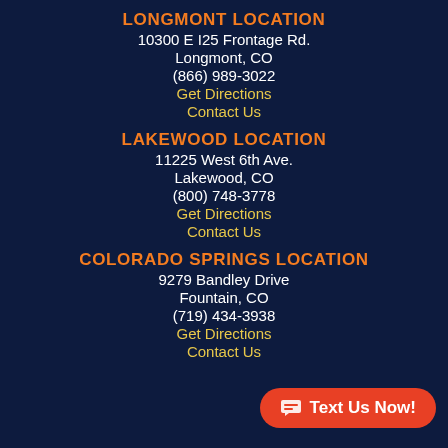LONGMONT LOCATION
10300 E I25 Frontage Rd.
Longmont, CO
(866) 989-3022
Get Directions
Contact Us
LAKEWOOD LOCATION
11225 West 6th Ave.
Lakewood, CO
(800) 748-3778
Get Directions
Contact Us
COLORADO SPRINGS LOCATION
9279 Bandley Drive
Fountain, CO
(719) 434-3938
Get Directions
Contact Us
Text Us Now!